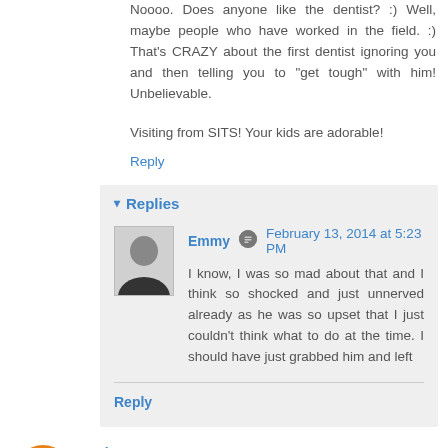Noooo. Does anyone like the dentist? :) Well, maybe people who have worked in the field. :) That's CRAZY about the first dentist ignoring you and then telling you to "get tough" with him! Unbelievable.
Visiting from SITS! Your kids are adorable!
Reply
Replies
Emmy  February 13, 2014 at 5:23 PM
I know, I was so mad about that and I think so shocked and just unnerved already as he was so upset that I just couldn't think what to do at the time. I should have just grabbed him and left
Reply
Unknown  February 12, 2014 at 3:27 AM
Aww, I absolutely love this story! I mean, not the part about